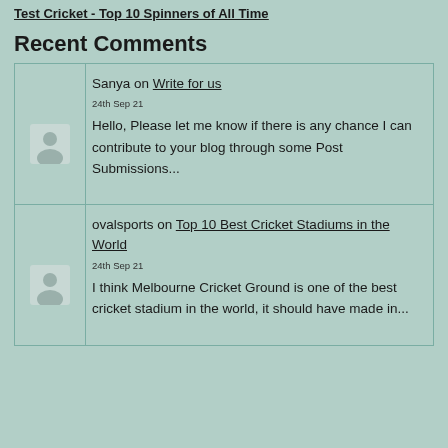Test Cricket - Top 10 Spinners of All Time
Recent Comments
Sanya on Write for us
24th Sep 21
Hello, Please let me know if there is any chance I can contribute to your blog through some Post Submissions...
ovalsports on Top 10 Best Cricket Stadiums in the World
24th Sep 21
I think Melbourne Cricket Ground is one of the best cricket stadium in the world, it should have made in...